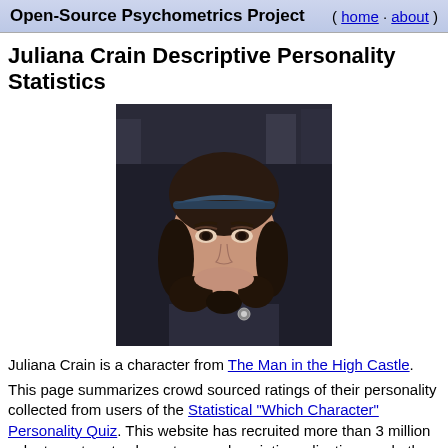Open-Source Psychometrics Project ( home · about )
Juliana Crain Descriptive Personality Statistics
[Figure (photo): Portrait photo of Juliana Crain character from The Man in the High Castle — a young woman with dark curly hair and a blue headband, wearing a dark outfit with a brooch, looking seriously at camera]
Juliana Crain is a character from The Man in the High Castle.
This page summarizes crowd sourced ratings of their personality collected from users of the Statistical "Which Character" Personality Quiz. This website has recruited more than 3 million volunteers to rate characters on descriptive adjectives and other properties, which can be aggregated to